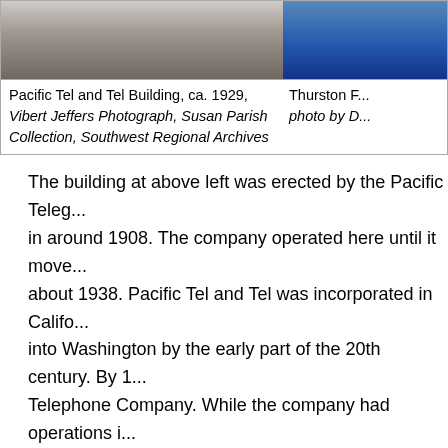[Figure (photo): Black and white photograph of the Pacific Tel and Tel Building, ca. 1929, top left portion visible]
[Figure (photo): Color photograph fragment on the right side, showing blue/dark tones, partially cut off]
Pacific Tel and Tel Building, ca. 1929, Vibert Jeffers Photograph, Susan Parish Collection, Southwest Regional Archives
Thurston F... photo by D...
The building at above left was erected by the Pacific Teleg... in around 1908. The company operated here until it move... about 1938. Pacific Tel and Tel was incorporated in Califo... into Washington by the early part of the 20th century. By 1... Telephone Company. While the company had operations i... Building and the Talcott Jewelers Building, this is the first ... Historian Bernice Sapp refers to the building in her essay,... below, although clearly this building did not exist 100 year... essay, in 1951. According to historian Shanna Stevenson,... workforce for the telephone company as they are today in...
The site of the Pacific Tel and Tel building is currently occu...